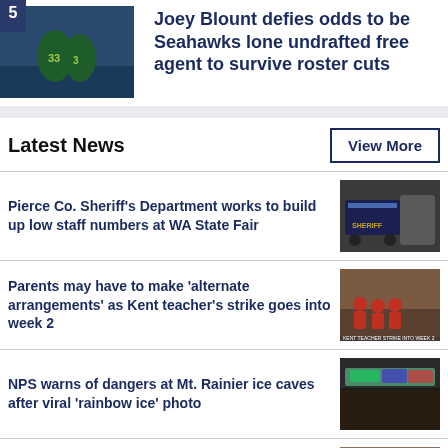Joey Blount defies odds to be Seahawks lone undrafted free agent to survive roster cuts
Latest News
View More
Pierce Co. Sheriff's Department works to build up low staff numbers at WA State Fair
Parents may have to make 'alternate arrangements' as Kent teacher's strike goes into week 2
NPS warns of dangers at Mt. Rainier ice caves after viral 'rainbow ice' photo
Tacoma animal shelter sets record-breaking number of adoptions in August